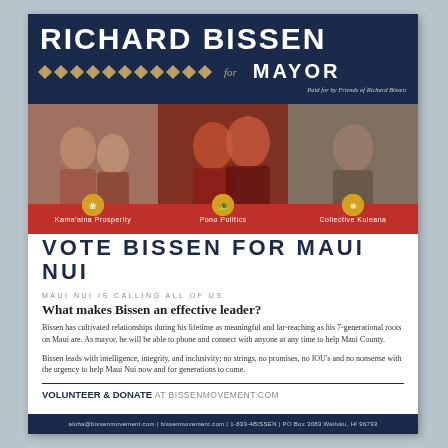RICHARD BISSEN for MAYOR
Paid for by Friends of Richard Bissen
[Figure (photo): Three campaign photos showing Richard Bissen with community members, with icons and red bar labels: Kama'aina Prosperity, Pono Politics, Collective Kuleana]
VOTE BISSEN FOR MAUI NUI
MAUI NUI IS CALLING ALL OF US
What makes Bissen an effective leader?
Bissen has cultivated relationships during his lifetime as meaningful and far-reaching as his 7-generational roots on Maui are. As mayor, he will be able to phone and connect with anyone at any time to help Maui County.
Bissen leads with intelligence, integrity, and inclusivity; no strings, no promises, no IOU's and no nonsense with the urgency to help Maui Nui now and for generations to come.
VOLUNTEER & DONATE AT BISSENMOVEMENT.COM
aloha@bissenmovement.com | bissenmovement.com | 1-833-4BISSEN | PO Box 3083 Wailuku, HI 96793